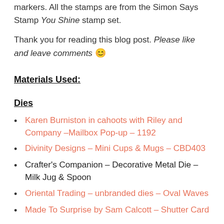markers. All the stamps are from the Simon Says Stamp You Shine stamp set.
Thank you for reading this blog post. Please like and leave comments 😊
Materials Used:
Dies
Karen Burniston in cahoots with Riley and Company –Mailbox Pop-up – 1192
Divinity Designs – Mini Cups & Mugs – CBD403
Crafter's Companion – Decorative Metal Die – Milk Jug & Spoon
Oriental Trading – unbranded dies – Oval Waves
Made To Surprise by Sam Calcott – Shutter Card